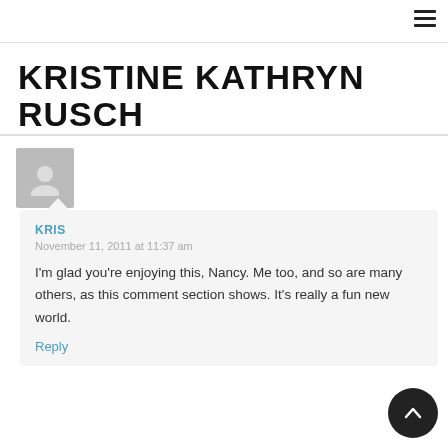≡
KRISTINE KATHRYN RUSCH
[Figure (illustration): Gray avatar/user placeholder icon]
KRIS
November 11, 2011 at 11:37 am
I'm glad you're enjoying this, Nancy. Me too, and so are many others, as this comment section shows. It's really a fun new world.
Reply